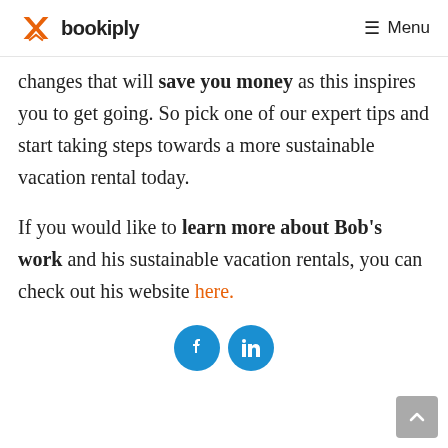bookiply  Menu
changes that will save you money as this inspires you to get going. So pick one of our expert tips and start taking steps towards a more sustainable vacation rental today.
If you would like to learn more about Bob's work and his sustainable vacation rentals, you can check out his website here.
[Figure (other): Social media share buttons: Facebook and LinkedIn circular icons]